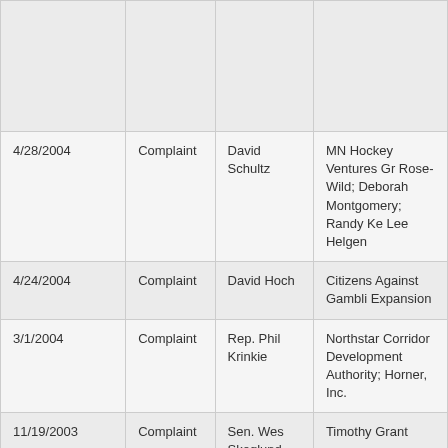| Date | Type | Filer | Subject |
| --- | --- | --- | --- |
|  |  |  |  |
| 4/28/2004 | Complaint | David Schultz | MN Hockey Ventures Gr Rose-Wild; Deborah Montgomery; Randy Ke Lee Helgen |
| 4/24/2004 | Complaint | David Hoch | Citizens Against Gambli Expansion |
| 3/1/2004 | Complaint | Rep. Phil Krinkie | Northstar Corridor Development Authority; Horner, Inc. |
| 11/19/2003 | Complaint | Sen. Wes Skoglund | Timothy Grant |